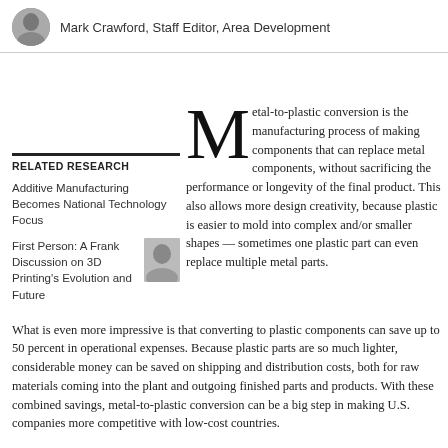Mark Crawford, Staff Editor, Area Development
RELATED RESEARCH
Additive Manufacturing Becomes National Technology Focus
First Person: A Frank Discussion on 3D Printing's Evolution and Future
Metal-to-plastic conversion is the manufacturing process of making components that can replace metal components, without sacrificing the performance or longevity of the final product. This also allows more design creativity, because plastic is easier to mold into complex and/or smaller shapes — sometimes one plastic part can even replace multiple metal parts.
What is even more impressive is that converting to plastic components can save up to 50 percent in operational expenses. Because plastic parts are so much lighter, considerable money can be saved on shipping and distribution costs, both for raw materials coming into the plant and outgoing finished parts and products. With these combined savings, metal-to-plastic conversion can be a big step in making U.S. companies more competitive with low-cost countries.